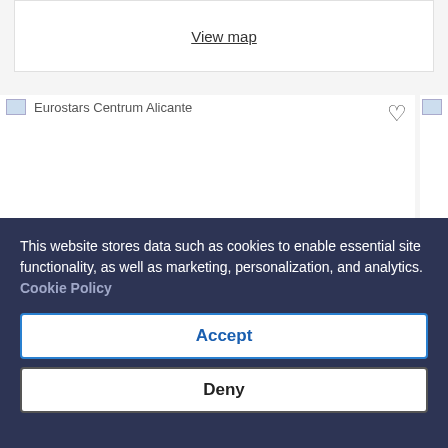View map
[Figure (screenshot): Hotel listing card for Eurostars Centrum Alicante with a heart/favorite icon and hotel name partially visible at bottom. A partially visible second hotel card labeled M... is shown to the right.]
Eurostars Centrum Alicante
This website stores data such as cookies to enable essential site functionality, as well as marketing, personalization, and analytics. Cookie Policy
Accept
Deny